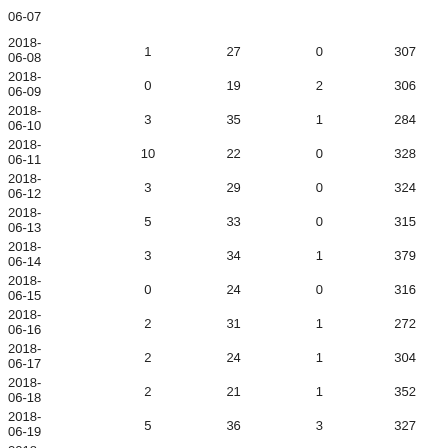| 2018-06-07 |  |  |  |  |
| 2018-06-08 | 1 | 27 | 0 | 307 |
| 2018-06-09 | 0 | 19 | 2 | 306 |
| 2018-06-10 | 3 | 35 | 1 | 284 |
| 2018-06-11 | 10 | 22 | 0 | 328 |
| 2018-06-12 | 3 | 29 | 0 | 324 |
| 2018-06-13 | 5 | 33 | 0 | 315 |
| 2018-06-14 | 3 | 34 | 1 | 379 |
| 2018-06-15 | 0 | 24 | 0 | 316 |
| 2018-06-16 | 2 | 31 | 1 | 272 |
| 2018-06-17 | 2 | 24 | 1 | 304 |
| 2018-06-18 | 2 | 21 | 1 | 352 |
| 2018-06-19 | 5 | 36 | 3 | 327 |
| 2018-06-20 | 2 | 36 | 0 | 348 |